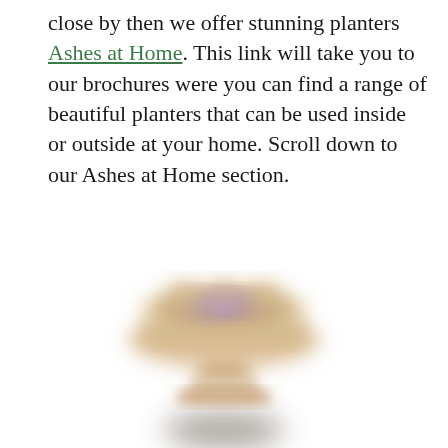close by then we offer stunning planters Ashes at Home. This link will take you to our brochures were you can find a range of beautiful planters that can be used inside or outside at your home. Scroll down to our Ashes at Home section.
[Figure (photo): A blurred photograph of a decorative stone or ceramic planter/lantern with a wide brim bowl shape on a pedestal base, with purple flowers visible inside the bowl. The image is intentionally blurred. White background.]